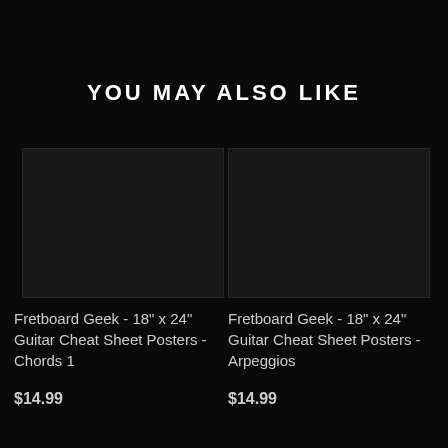YOU MAY ALSO LIKE
[Figure (photo): Dark/black product image placeholder for Fretboard Geek guitar cheat sheet poster - Chords 1]
Fretboard Geek - 18" x 24" Guitar Cheat Sheet Posters - Chords 1
$14.99
[Figure (photo): Dark/black product image placeholder for Fretboard Geek guitar cheat sheet poster - Arpeggios]
Fretboard Geek - 18" x 24" Guitar Cheat Sheet Posters - Arpeggios
$14.99